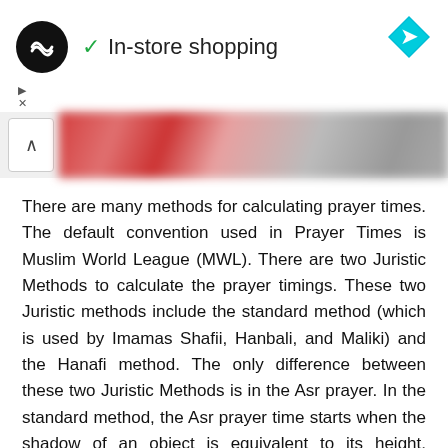In-store shopping
[Figure (screenshot): Blurred banner image with a pink/red and grey gradient, with an upward arrow button on the left side]
There are many methods for calculating prayer times. The default convention used in Prayer Times is Muslim World League (MWL). There are two Juristic Methods to calculate the prayer timings. These two Juristic methods include the standard method (which is used by Imamas Shafii, Hanbali, and Maliki) and the Hanafi method. The only difference between these two Juristic Methods is in the Asr prayer. In the standard method, the Asr prayer time starts when the shadow of an object is equivalent to its height, whereas in the Hanafi method the Asr prayer time starts when the shadow of